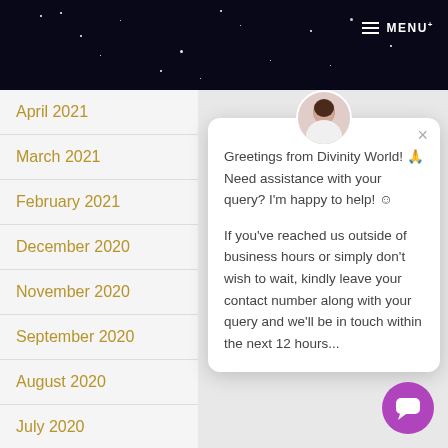MENU
April 2021
March 2021
February 2021
December 2020
November 2020
September 2020
August 2020
July 2020
Greetings from Divinity World! 🙏 Need assistance with your query? I'm happy to help! ☺

If you've reached us outside of business hours or simply don't wish to wait, kindly leave your contact number along with your query and we'll be in touch within the next 12 hours...